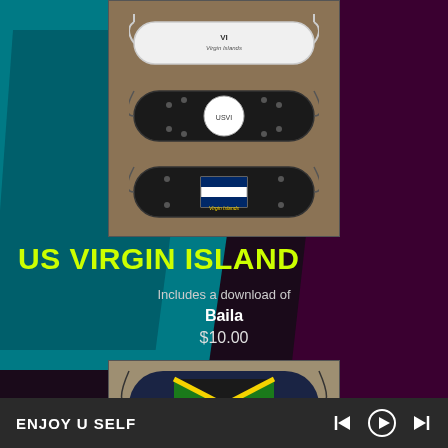[Figure (photo): Three face masks with US Virgin Islands themed designs on a tan/brown background. Top mask is white with USVI text, middle and bottom masks are black with USVI flag emblems.]
US VIRGIN ISLAND
Includes a download of
Baila
$10.00
[Figure (photo): Two Jamaican flag face masks on a tan/gray background. Top mask shows plain Jamaican flag (yellow X on black and green), bottom mask shows Jamaican flag in a patterned design.]
ENJOY U SELF